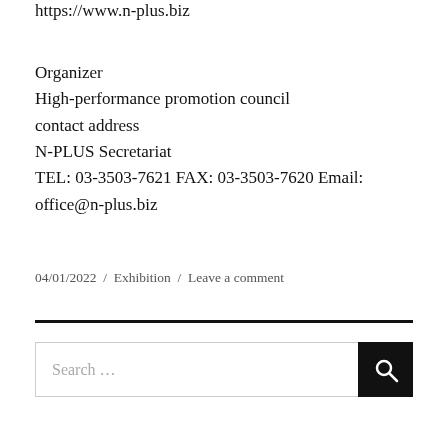https://www.n-plus.biz
Organizer
High-performance promotion council
contact address
N-PLUS Secretariat
TEL: 03-3503-7621 FAX: 03-3503-7620 Email: office@n-plus.biz
04/01/2022 / Exhibition / Leave a comment
Search …